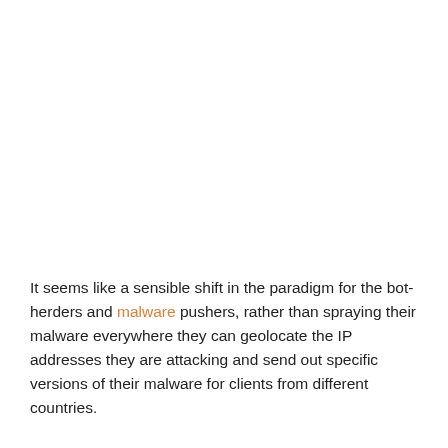It seems like a sensible shift in the paradigm for the bot-herders and malware pushers, rather than spraying their malware everywhere they can geolocate the IP addresses they are attacking and send out specific versions of their malware for clients from different countries.